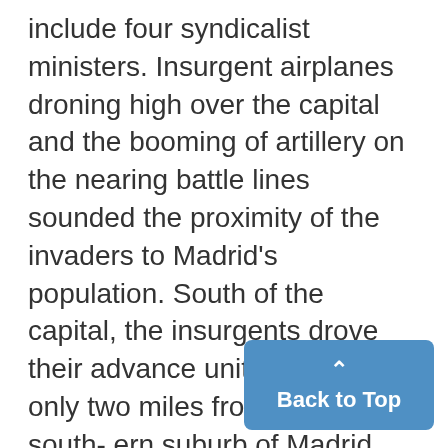include four syndicalist ministers. Insurgent airplanes droning high over the capital and the booming of artillery on the nearing battle lines sounded the proximity of the invaders to Madrid's population. South of the capital, the insurgents drove their advance units to a point only two miles from Getafe, southern suburb of Madrid. One more attack, Fascist military leaders said, and their troops would be charging toward the very gates of the capital.
Back to Top